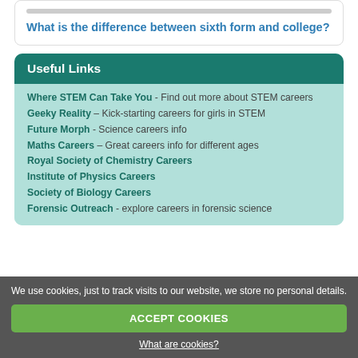What is the difference between sixth form and college?
Useful Links
Where STEM Can Take You - Find out more about STEM careers
Geeky Reality - Kick-starting careers for girls in STEM
Future Morph - Science careers info
Maths Careers - Great careers info for different ages
Royal Society of Chemistry Careers
Institute of Physics Careers
Society of Biology Careers
Forensic Outreach - explore careers in forensic science
We use cookies, just to track visits to our website, we store no personal details.
ACCEPT COOKIES
What are cookies?